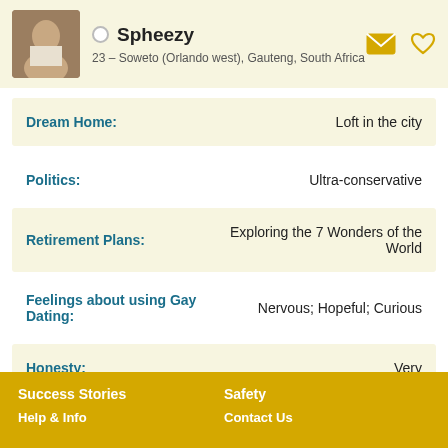Spheezy — 23 – Soweto (Orlando west), Gauteng, South Africa
Dream Home: Loft in the city
Politics: Ultra-conservative
Retirement Plans: Exploring the 7 Wonders of the World
Feelings about using Gay Dating: Nervous; Hopeful; Curious
Honesty: Very
Success Stories  Safety  Help & Info  Contact Us